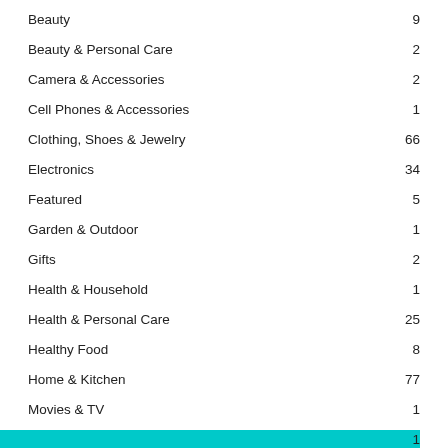Beauty    9
Beauty & Personal Care    2
Camera & Accessories    2
Cell Phones & Accessories    1
Clothing, Shoes & Jewelry    66
Electronics    34
Featured    5
Garden & Outdoor    1
Gifts    2
Health & Household    1
Health & Personal Care    25
Healthy Food    8
Home & Kitchen    77
Movies & TV    1
1